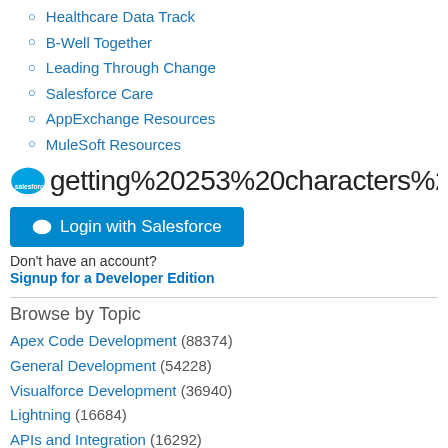Healthcare Data Track
B-Well Together
Leading Through Change
Salesforce Care
AppExchange Resources
MuleSoft Resources
[Figure (screenshot): Salesforce cloud logo and URL bar showing: getting%20253%20characters%2]
Login with Salesforce (button)
Don't have an account? Signup for a Developer Edition
Browse by Topic
Apex Code Development (88374)
General Development (54228)
Visualforce Development (36940)
Lightning (16684)
APIs and Integration (16292)
Trailhead (11458)
Formulas & Validation Rules Discussion (10887)
Other Salesforce Applications (7860)
Jobs Board (6626)
Force.com Sites & Site.com (4762)